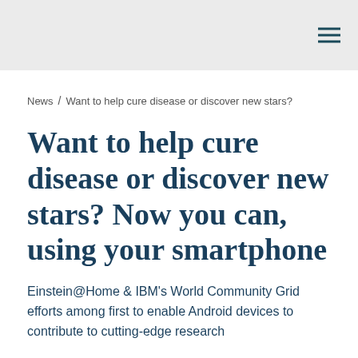News / Want to help cure disease or discover new stars?
Want to help cure disease or discover new stars? Now you can, using your smartphone
Einstein@Home & IBM's World Community Grid efforts among first to enable Android devices to contribute to cutting-edge research